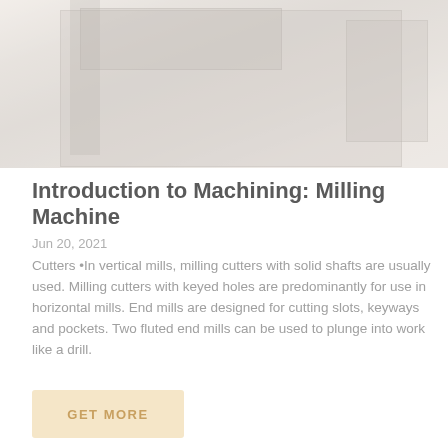[Figure (photo): Faded photograph of a milling machine in a workshop setting, showing the machine body, column, and control panel with light industrial environment]
Introduction to Machining: Milling Machine
Jun 20, 2021
Cutters •In vertical mills, milling cutters with solid shafts are usually used. Milling cutters with keyed holes are predominantly for use in horizontal mills. End mills are designed for cutting slots, keyways and pockets. Two fluted end mills can be used to plunge into work like a drill.
GET MORE